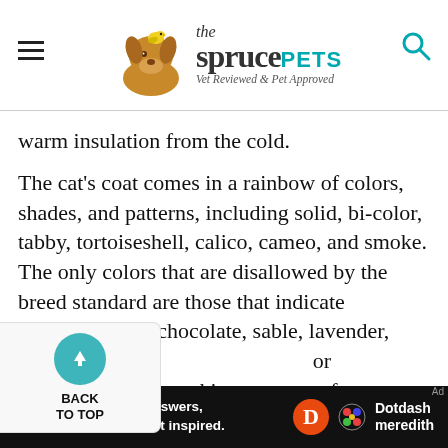the spruce PETS — Vet Reviewed & Pet Approved
warm insulation from the cold.
The cat's coat comes in a rainbow of colors, shades, and patterns, including solid, bi-color, tabby, tortoiseshell, calico, cameo, and smoke. The only colors that are disallowed by the breed standard are those that indicate hybridization—chocolate, sable, lavender, lilac, cinnamon, or Himalayan-type markings, or any of those colors with white.
Diet and Nutrition
[Figure (other): Dotdash Meredith advertisement banner: 'We help people find answers, solve problems and get inspired.']